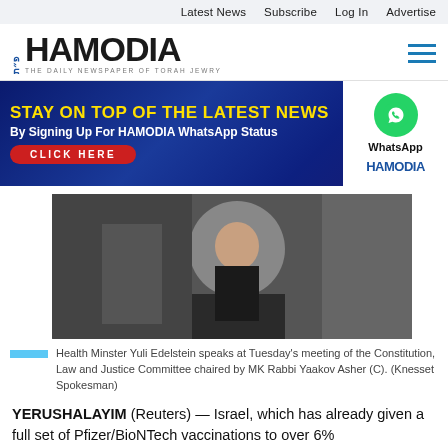Latest News   Subscribe   Log In   Advertise
[Figure (logo): HAMODIA logo — Hebrew letter, bold HAMODIA wordmark, subtitle 'THE DAILY NEWSPAPER OF TORAH JEWRY']
[Figure (infographic): Advertisement banner: 'STAY ON TOP OF THE LATEST NEWS By Signing Up For HAMODIA WhatsApp Status CLICK HERE' with WhatsApp icon and HAMODIA branding on right]
[Figure (photo): Health Minister Yuli Edelstein drinking water at a committee meeting, seen in profile wearing dark suit]
Health Minster Yuli Edelstein speaks at Tuesday's meeting of the Constitution, Law and Justice Committee chaired by MK Rabbi Yaakov Asher (C). (Knesset Spokesman)
YERUSHALAYIM (Reuters) — Israel, which has already given a full set of Pfizer/BioNTech vaccinations to over 6%